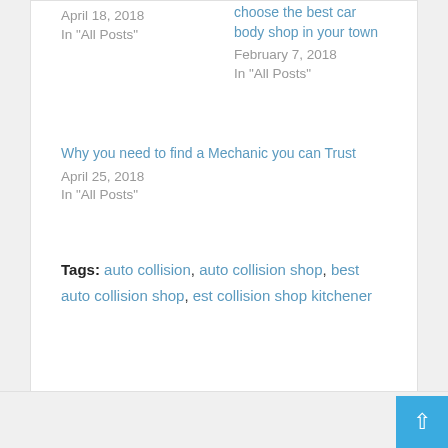April 18, 2018
In "All Posts"
choose the best car body shop in your town
February 7, 2018
In "All Posts"
Why you need to find a Mechanic you can Trust
April 25, 2018
In "All Posts"
Tags: auto collision, auto collision shop, best auto collision shop, est collision shop kitchener